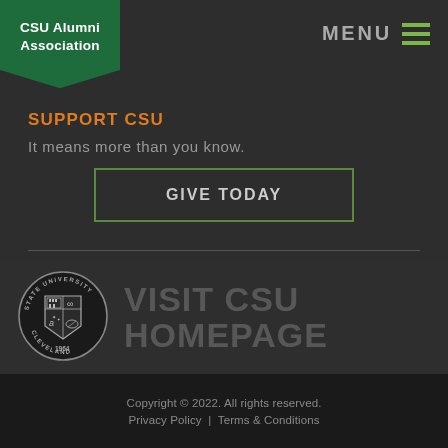CSU Alumni Association
SUPPORT CSU
It means more than you know.
GIVE TODAY
[Figure (logo): Cleveland State University circular seal/crest logo, black and white, 1964]
VISIT CSU HOMEPAGE
Copyright © 2022. All rights reserved. Privacy Policy | Terms & Conditions